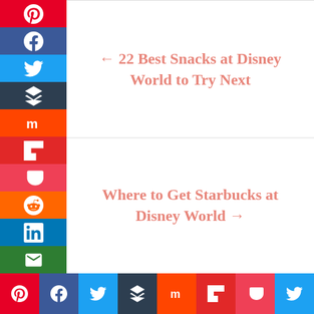← 22 Best Snacks at Disney World to Try Next
Where to Get Starbucks at Disney World →